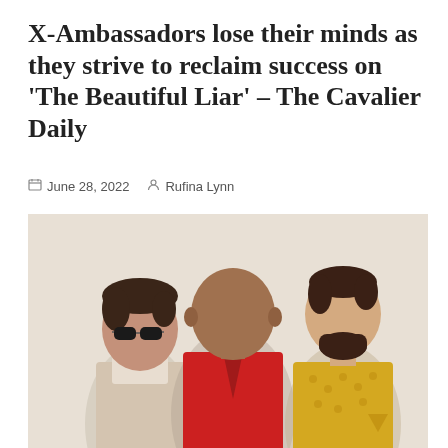X-Ambassadors lose their minds as they strive to reclaim success on 'The Beautiful Liar' – The Cavalier Daily
June 28, 2022  Rufina Lynn
[Figure (illustration): Stylized flat illustration of three band members: left figure with dark hair and sunglasses wearing a beige turtleneck; center figure bald with dark complexion wearing a red jacket; right figure with short dark hair and beard wearing a yellow patterned shirt. Background is a light beige/cream color.]